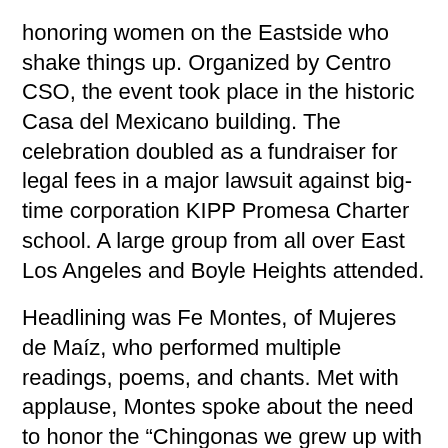honoring women on the Eastside who shake things up. Organized by Centro CSO, the event took place in the historic Casa del Mexicano building. The celebration doubled as a fundraiser for legal fees in a major lawsuit against big-time corporation KIPP Promesa Charter school. A large group from all over East Los Angeles and Boyle Heights attended.
Headlining was Fe Montes, of Mujeres de Maíz, who performed multiple readings, poems, and chants. Met with applause, Montes spoke about the need to honor the “Chingonas we grew up with and who are leading today.”
Liza Ceballos of Translatin@ Coalition put in long hours to set up the event with members of Centro CSO. Ceballos spoke about the need to be united with trans issues every day, and not just on International Women’s Day. She told the crowd, “We have to be there for each other through the good times and the bad times.”